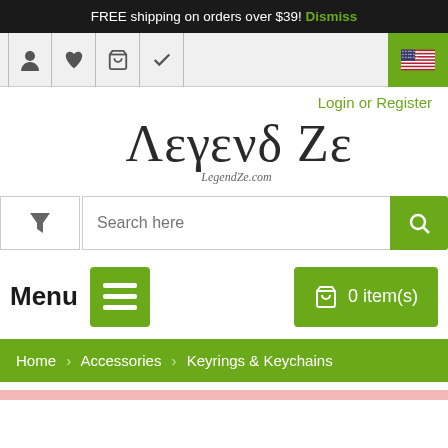FREE shipping on orders over $39! Dismiss
[Figure (screenshot): Top navigation icon bar with user, wishlist, cart, and checkmark icons, plus a US flag button on the right]
Login or Register
[Figure (logo): Legend Ze logo with Greek-style text 'Λεγενδ Ζε' and subtitle 'LegendZe.com']
[Figure (screenshot): Search bar with filter funnel button on the left and green search button on the right showing 'Search here' placeholder]
Menu  0 item(s)
Home > Accessories > Keyrings & Keychains